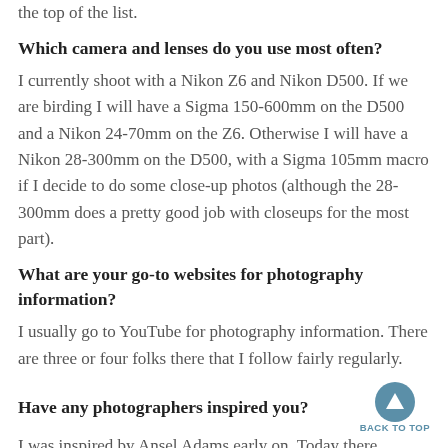the top of the list.
Which camera and lenses do you use most often?
I currently shoot with a Nikon Z6 and Nikon D500. If we are birding I will have a Sigma 150-600mm on the D500 and a Nikon 24-70mm on the Z6. Otherwise I will have a Nikon 28-300mm on the D500, with a Sigma 105mm macro if I decide to do some close-up photos (although the 28-300mm does a pretty good job with closeups for the most part).
What are your go-to websites for photography information?
I usually go to YouTube for photography information. There are three or four folks there that I follow fairly regularly.
Have any photographers inspired you?
I was inspired by Ansel Adams early on. Today there